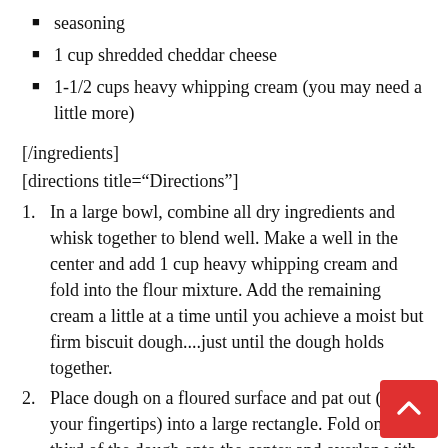seasoning
1 cup shredded cheddar cheese
1-1/2 cups heavy whipping cream (you may need a little more)
[/ingredients]
[directions title="Directions"]
In a large bowl, combine all dry ingredients and whisk together to blend well. Make a well in the center and add 1 cup heavy whipping cream and fold into the flour mixture. Add the remaining cream a little at a time until you achieve a moist but firm biscuit dough....just until the dough holds together.
Place dough on a floured surface and pat out (using your fingertips) into a large rectangle. Fold one third of the dough onto the center and overlap with remaining third of the dough as if you were folding a